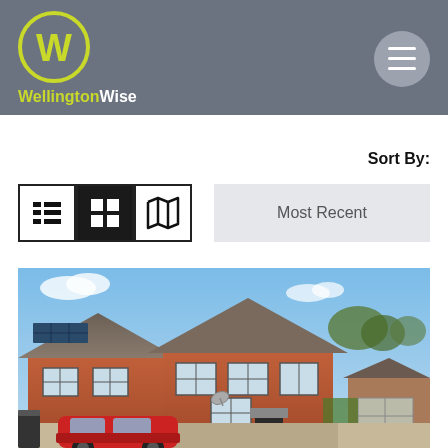[Figure (logo): WellingtonWise logo: a W inside a lime-green circle, with 'WellingtonWise' text below in white/lime on grey background]
Sort By:
Most Recent
[Figure (photo): Exterior photo of a semi-detached brick house with tiled roof, white windows, red car parked in front, on a sunny day]